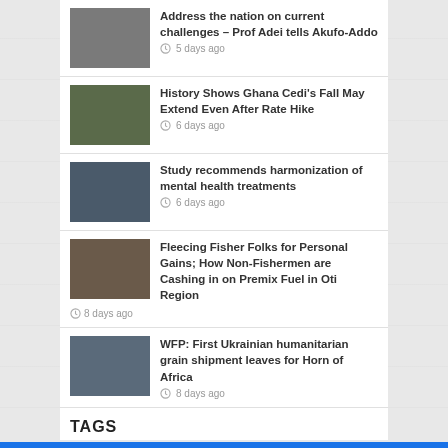Address the nation on current challenges – Prof Adei tells Akufo-Addo
5 days ago
History Shows Ghana Cedi's Fall May Extend Even After Rate Hike
6 days ago
Study recommends harmonization of mental health treatments
6 days ago
Fleecing Fisher Folks for Personal Gains; How Non-Fishermen are Cashing in on Premix Fuel in Oti Region
8 days ago
WFP: First Ukrainian humanitarian grain shipment leaves for Horn of Africa
8 days ago
TAGS